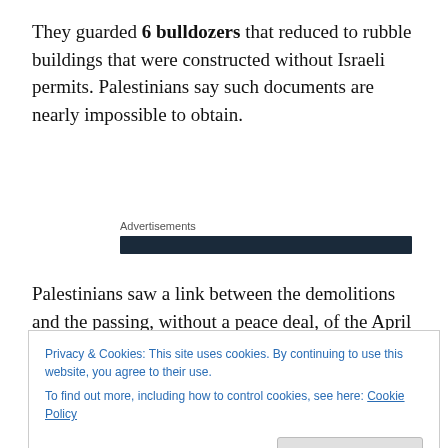They guarded 6 bulldozers that reduced to rubble buildings that were constructed without Israeli permits. Palestinians say such documents are nearly impossible to obtain.
Advertisements
Palestinians saw a link between the demolitions and the passing, without a peace deal, of the April 29 deadline set when the talks began in July. Israel has also drawn
Privacy & Cookies: This site uses cookies. By continuing to use this website, you agree to their use.
To find out more, including how to control cookies, see here: Cookie Policy